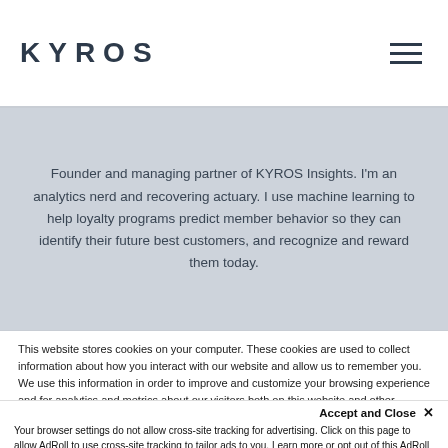KYROS
Founder and managing partner of KYROS Insights. I'm an analytics nerd and recovering actuary. I use machine learning to help loyalty programs predict member behavior so they can identify their future best customers, and recognize and reward them today.
This website stores cookies on your computer. These cookies are used to collect information about how you interact with our website and allow us to remember you. We use this information in order to improve and customize your browsing experience and for analytics and metrics about our visitors both on this website and other media. To find out more about the cookies we use, see our Privacy Policy.
Accept and Close ✕
Your browser settings do not allow cross-site tracking for advertising. Click on this page to allow AdRoll to use cross-site tracking to tailor ads to you. Learn more or opt out of this AdRoll tracking by clicking here. This message only appears once.